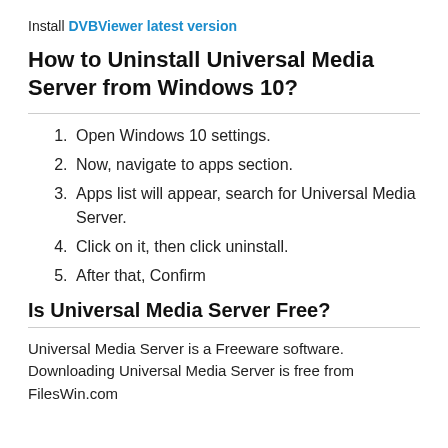Install DVBViewer latest version
How to Uninstall Universal Media Server from Windows 10?
Open Windows 10 settings.
Now, navigate to apps section.
Apps list will appear, search for Universal Media Server.
Click on it, then click uninstall.
After that, Confirm
Is Universal Media Server Free?
Universal Media Server is a Freeware software. Downloading Universal Media Server is free from FilesWin.com